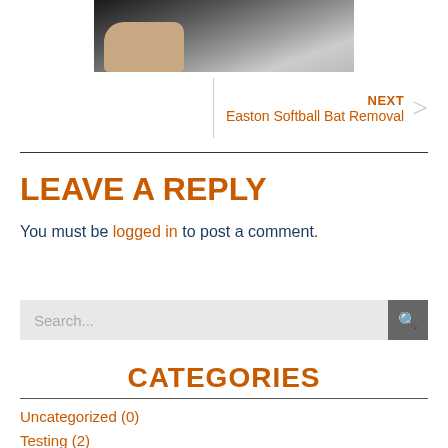[Figure (photo): A hand holding a pair of eyeglasses, photographed against a light background.]
NEXT
Easton Softball Bat Removal
LEAVE A REPLY
You must be logged in to post a comment.
Search...
CATEGORIES
Uncategorized (0)
Testing (2)